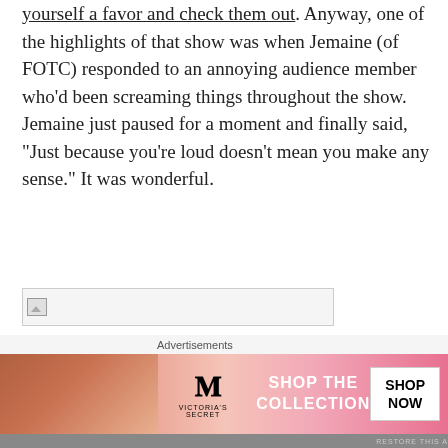yourself a favor and check them out. Anyway, one of the highlights of that show was when Jemaine (of FOTC) responded to an annoying audience member who'd been screaming things throughout the show. Jemaine just paused for a moment and finally said, "Just because you're loud doesn't mean you make any sense." It was wonderful.
[Figure (other): Broken image placeholder — a small icon in top-left of a wide rectangle with gray border]
[Figure (other): Victoria's Secret advertisement banner: model photo on left, VS logo, SHOP THE COLLECTION text, SHOP NOW button]